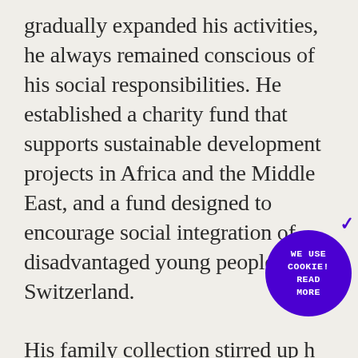gradually expanded his activities, he always remained conscious of his social responsibilities. He established a charity fund that supports sustainable development projects in Africa and the Middle East, and a fund designed to encourage social integration of disadvantaged young people in Switzerland.

His family collection stirred up h… interest in art and made him a p… collector. Today Jean Claude Gandur's
[Figure (other): Purple circular cookie consent badge with text 'WE USE COOKIE! READ MORE' in monospace white font]